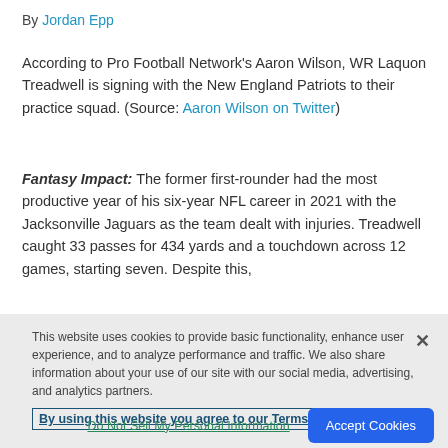By Jordan Epp
According to Pro Football Network's Aaron Wilson, WR Laquon Treadwell is signing with the New England Patriots to their practice squad. (Source: Aaron Wilson on Twitter)
Fantasy Impact: The former first-rounder had the most productive year of his six-year NFL career in 2021 with the Jacksonville Jaguars as the team dealt with injuries. Treadwell caught 33 passes for 434 yards and a touchdown across 12 games, starting seven. Despite this,
This website uses cookies to provide basic functionality, enhance user experience, and to analyze performance and traffic. We also share information about your use of our site with our social media, advertising, and analytics partners.
By using this website you agree to our Terms of Use.
Do Not Sell My Personal Information
Accept Cookies